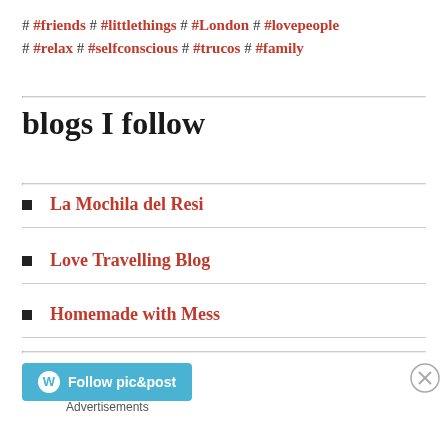# #friends # #littlethings # #London # #lovepeople # #relax # #selfconscious # #trucos # #family
blogs I follow
La Mochila del Resi
Love Travelling Blog
Homemade with Mess
Follow pic&post
Advertisements
[Figure (other): DuckDuckGo advertisement banner: Search, browse, and email with more privacy. All in One Free App. DuckDuckGo logo on dark background.]